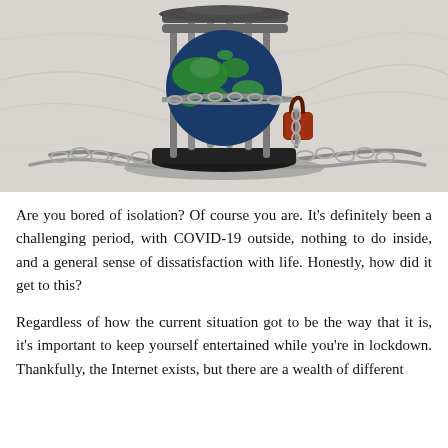[Figure (photo): A globe inside a metal cage/prison bars wrapped in chains with a padlock, sitting on a white marble surface — symbolizing global lockdown or isolation during COVID-19.]
Are you bored of isolation? Of course you are. It's definitely been a challenging period, with COVID-19 outside, nothing to do inside, and a general sense of dissatisfaction with life. Honestly, how did it get to this?
Regardless of how the current situation got to be the way that it is, it's important to keep yourself entertained while you're in lockdown. Thankfully, the Internet exists, but there are a wealth of different